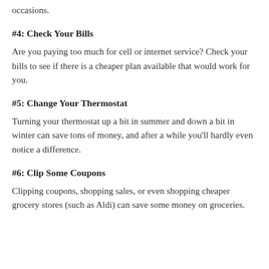occasions.
#4: Check Your Bills
Are you paying too much for cell or internet service? Check your bills to see if there is a cheaper plan available that would work for you.
#5: Change Your Thermostat
Turning your thermostat up a bit in summer and down a bit in winter can save tons of money, and after a while you'll hardly even notice a difference.
#6: Clip Some Coupons
Clipping coupons, shopping sales, or even shopping cheaper grocery stores (such as Aldi) can save some money on groceries.